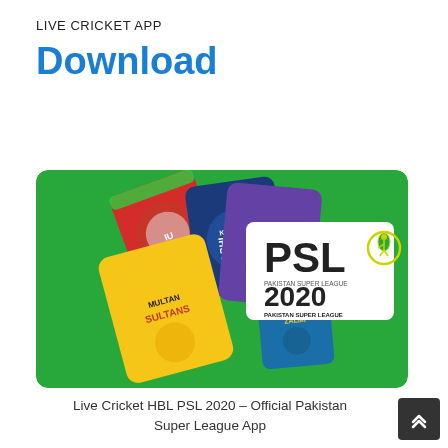LIVE CRICKET APP
Download
[Figure (illustration): PSL 2020 Pakistan Super League promotional image on green background showing team logos: Multan Sultans (yellow), Karachi Kings (blue), Quetta Gladiators (purple), Peshawar Zalmi (blue), Islamabad United (red/green), with PSL 2020 Pakistan Super League logo on white banner]
Live Cricket HBL PSL 2020 – Official Pakistan Super League App